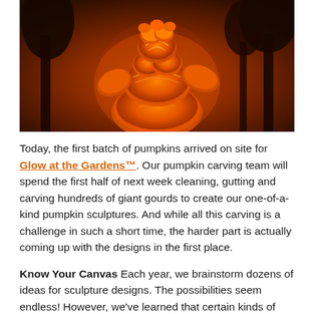[Figure (photo): A large glowing pumpkin sculpture shaped like a humanoid figure, illuminated in orange and red light, set against a dark sky with silhouetted trees in the background.]
Today, the first batch of pumpkins arrived on site for Glow at the Gardens™. Our pumpkin carving team will spend the first half of next week cleaning, gutting and carving hundreds of giant gourds to create our one-of-a-kind pumpkin sculptures. And while all this carving is a challenge in such a short time, the harder part is actually coming up with the designs in the first place.
Know Your Canvas Each year, we brainstorm dozens of ideas for sculpture designs. The possibilities seem endless! However, we've learned that certain kinds of